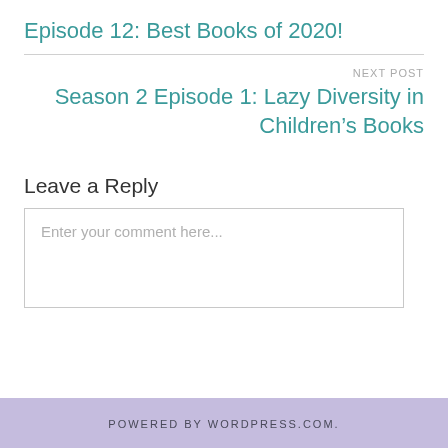Episode 12: Best Books of 2020!
NEXT POST
Season 2 Episode 1: Lazy Diversity in Children's Books
Leave a Reply
Enter your comment here...
POWERED BY WORDPRESS.COM.